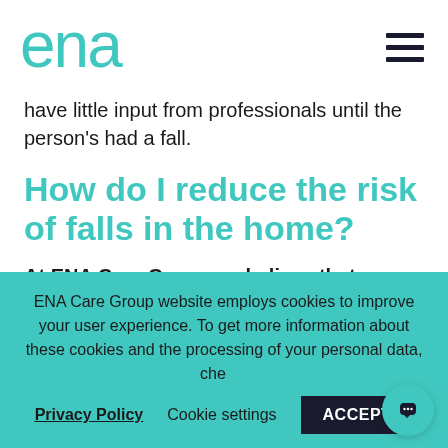[Figure (logo): ENA logo in teal/turquoise color with hamburger menu icon on the right]
have little input from professionals until the person's had a fall.
How do I reduce the risk of falls in the home?
At ENA Care Group we believe that preventing a fall is always preferable to
ENA Care Group website employs cookies to improve your user experience. To get more information about these cookies and the processing of your personal data, che...
Privacy Policy   Cookie settings   ACCEPT